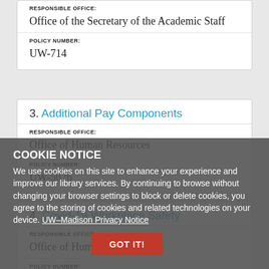RESPONSIBLE OFFICE:
Office of the Secretary of the Academic Staff
POLICY NUMBER:
UW-714
3. Additional Pay Components
RESPONSIBLE OFFICE:
Office of Human Resources
POLICY NUMBER:
UW-5026
COOKIE NOTICE
We use cookies on this site to enhance your experience and improve our library services. By continuing to browse without changing your browser settings to block or delete cookies, you agree to the storing of cookies and related technologies on your device. UW–Madison Privacy Notice
4. Covid-19 Workplace Safety
RESPONSIBLE OFFICE:
Office of Human Resources
POLICY NUMBER: